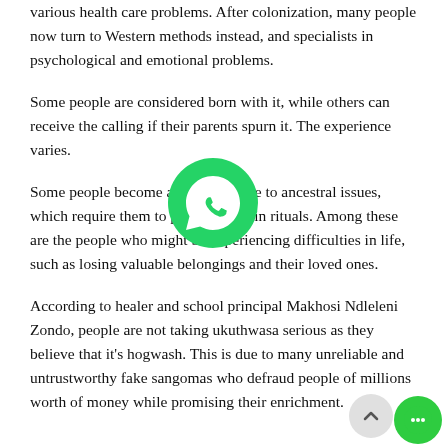various health care problems. After colonization, many people now turn to Western methods instead, and specialists in psychological and emotional problems.
Some people are considered born with it, while others can receive the calling if their parents spurn it. The experience varies.
[Figure (logo): WhatsApp circular green button icon]
Some people become amathwasa due to ancestral issues, which require them to perform certain rituals. Among these are the people who might be experiencing difficulties in life, such as losing valuable belongings and their loved ones.
According to healer and school principal Makhosi Ndleleni Zondo, people are not taking ukuthwasa serious as they believe that it's hogwash. This is due to many unreliable and untrustworthy fake sangomas who defraud people of millions worth of money while promising their enrichment.